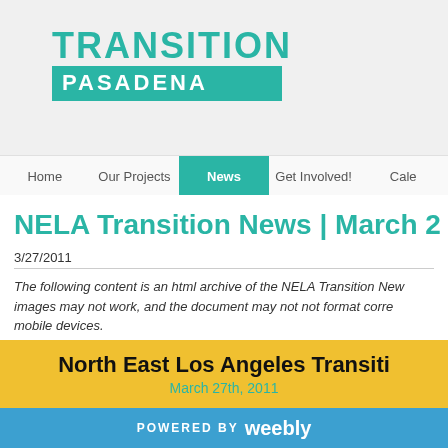[Figure (logo): Transition Pasadena logo in teal/turquoise colors]
Home  Our Projects  News  Get Involved!  Cale
NELA Transition News | March 2
3/27/2011
The following content is an html archive of the NELA Transition News, images may not work, and the document may not not format correctly on mobile devices.
North East Los Angeles Transiti
March 27th, 2011
POWERED BY weebly